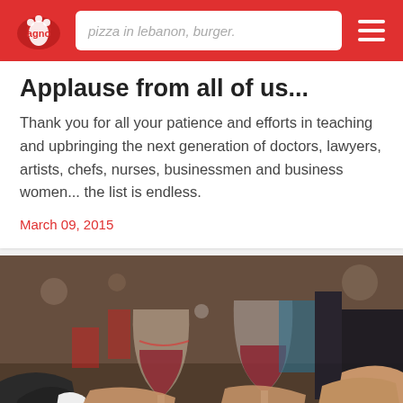pizza in lebanon, burger.
Applause from all of us...
Thank you for all your patience and efforts in teaching and upbringing the next generation of doctors, lawyers, artists, chefs, nurses, businessmen and business women... the list is endless.
March 09, 2015
[Figure (photo): Two people clinking wine glasses with red wine at a restaurant or bar setting]
RECOMMENDED
Our Suggestions for a Night out